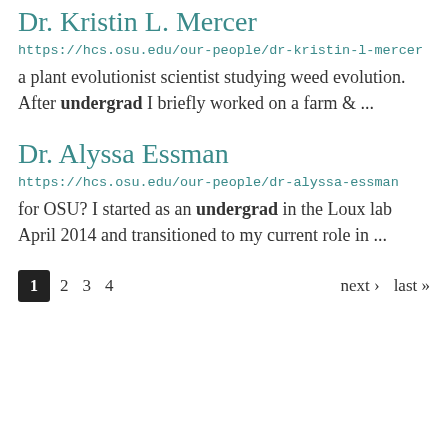Dr. Kristin L. Mercer
https://hcs.osu.edu/our-people/dr-kristin-l-mercer
a plant evolutionist scientist studying weed evolution. After undergrad I briefly worked on a farm & ...
Dr. Alyssa Essman
https://hcs.osu.edu/our-people/dr-alyssa-essman
for OSU? I started as an undergrad in the Loux lab April 2014 and transitioned to my current role in ...
1  2  3  4  next ›  last »